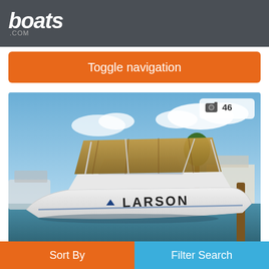[Figure (logo): boats.com logo in white italic bold text on dark gray header bar]
Toggle navigation
[Figure (photo): Photo of a white Larson Cabrio 274 Mid Cabin motorboat with tan bimini top, docked at a marina on a sunny day with blue sky and clouds. Photo count badge showing camera icon and 46.]
Larson Cabrio 274 Mid Cabin
Sort By
Filter Search